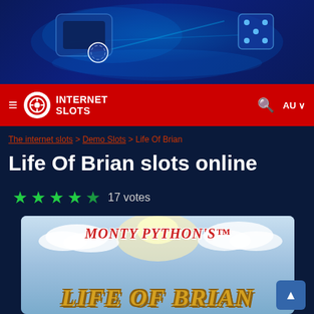[Figure (screenshot): Hero banner with dark blue background, glowing dice and casino chips]
[Figure (screenshot): Red navigation bar with Internet Slots logo, hamburger menu, search icon, and AU country selector]
The internet slots > Demo Slots > Life Of Brian
Life Of Brian slots online
★★★★☆ 17 votes
[Figure (screenshot): Monty Python's Life Of Brian slot game preview image with PLAY FREE green button overlay]